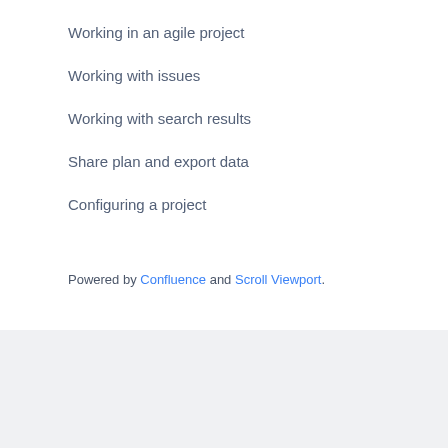Working in an agile project
Working with issues
Working with search results
Share plan and export data
Configuring a project
Powered by Confluence and Scroll Viewport.
Atlassian — Privacy policy   Terms of use   Security